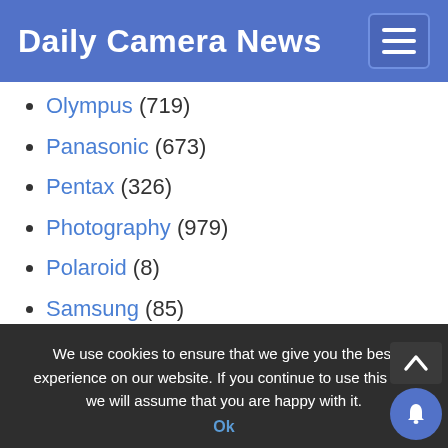Daily Camera News
Olympus (719)
Panasonic (673)
Pentax (326)
Photography (979)
Polaroid (8)
Samsung (85)
Samyang (51)
Sigma (349)
SLR Magic (7)
Sony (1,640)
Tamron (75)
Tokina (35)
Venus Optics (51)
Zeiss (40)
We use cookies to ensure that we give you the best experience on our website. If you continue to use this site we will assume that you are happy with it.